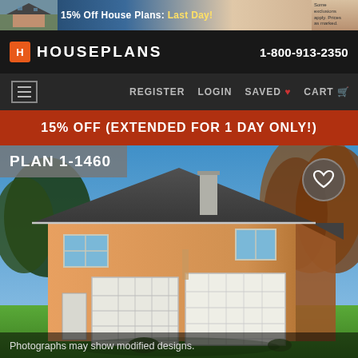[Figure (screenshot): Ad banner at top: house photo on left, '15% Off House Plans: Last Day!' text in center, small text on right]
HOUSEPLANS  1-800-913-2350
REGISTER  LOGIN  SAVED ♥  CART 🛒
15% OFF (EXTENDED FOR 1 DAY ONLY!)
PLAN 1-1460
[Figure (photo): Exterior rendering of a two-story house with orange/tan stucco walls, dark grey hip roof, chimney, two-car garage doors, small white entry door, windows on upper floor, trees in background, yellow patio umbrella and outdoor furniture on right side, green lawn.]
Photographs may show modified designs.